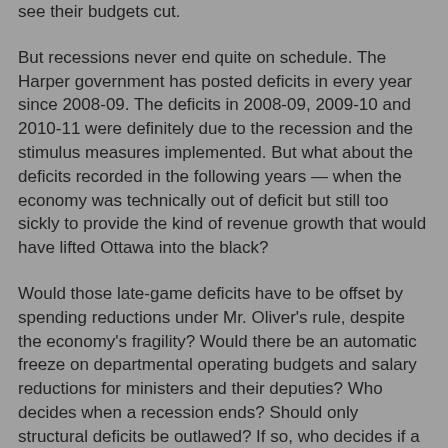see their budgets cut.
But recessions never end quite on schedule. The Harper government has posted deficits in every year since 2008-09. The deficits in 2008-09, 2009-10 and 2010-11 were definitely due to the recession and the stimulus measures implemented. But what about the deficits recorded in the following years — when the economy was technically out of deficit but still too sickly to provide the kind of revenue growth that would have lifted Ottawa into the black?
Would those late-game deficits have to be offset by spending reductions under Mr. Oliver's rule, despite the economy's fragility? Would there be an automatic freeze on departmental operating budgets and salary reductions for ministers and their deputies? Who decides when a recession ends? Should only structural deficits be outlawed? If so, who decides if a deficit is caused by structural factors and by how much?